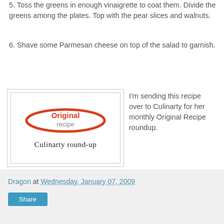5. Toss the greens in enough vinaigrette to coat them. Divide the greens among the plates. Top with the pear slices and walnuts.
6. Shave some Parmesan cheese on top of the salad to garnish.
[Figure (logo): Culinarty round-up stamp graphic with 'Original recipe' text in an orange oval border and 'Culinarty round-up' in handwritten script below]
I'm sending this recipe over to Culinarty for her monthly Original Recipe roundup.
Dragon at Wednesday, January 07, 2009  Share